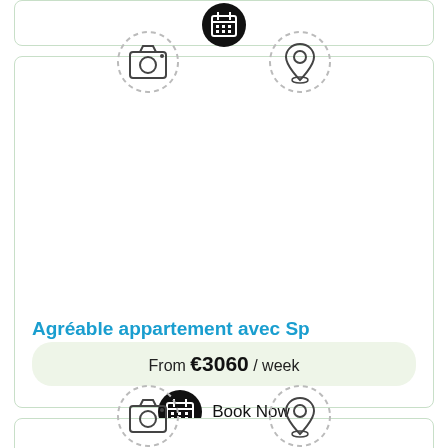[Figure (screenshot): Top partial listing card with calendar icon]
[Figure (screenshot): Main listing card showing camera placeholder icon, location placeholder icon, property title 'Agréable appartement avec Sp', price from €3060/week, and Book Now button]
Agréable appartement avec Sp
From €3060 / week
Book Now
[Figure (screenshot): Bottom partial listing card with camera and location placeholder icons]